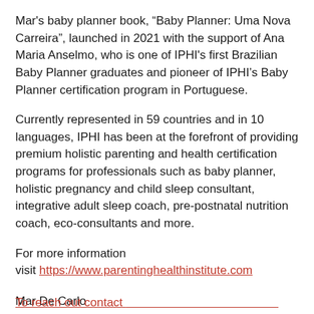Mar's baby planner book, “Baby Planner: Uma Nova Carreira”, launched in 2021 with the support of Ana Maria Anselmo, who is one of IPHI's first Brazilian Baby Planner graduates and pioneer of IPHI’s Baby Planner certification program in Portuguese.
Currently represented in 59 countries and in 10 languages, IPHI has been at the forefront of providing premium holistic parenting and health certification programs for professionals such as baby planner, holistic pregnancy and child sleep consultant, integrative adult sleep coach, pre-postnatal nutrition coach, eco-consultants and more.
For more information
visit https://www.parentinghealthinstitute.com
Mar De Carlo
International Parenting & Health Institute
+1 424-234-8159
To reach out contact (partially visible link)